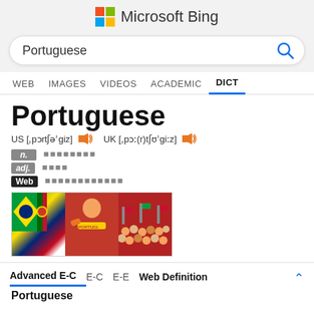Microsoft Bing
Portuguese
WEB  IMAGES  VIDEOS  ACADEMIC  DICT
Portuguese
US [ˌpɔrtʃəˈgiz]  UK [ˌpɔː(r)tʃʊˈgiːz]
n.  (Chinese characters)
adj.  (Chinese characters)
Web  (Chinese characters)
[Figure (photo): Three photos related to Portuguese: Brazilian and Portuguese flags, a woman with a Portugal scarf, crowd of people]
Advanced E-C  E-C  E-E  Web Definition
Portuguese